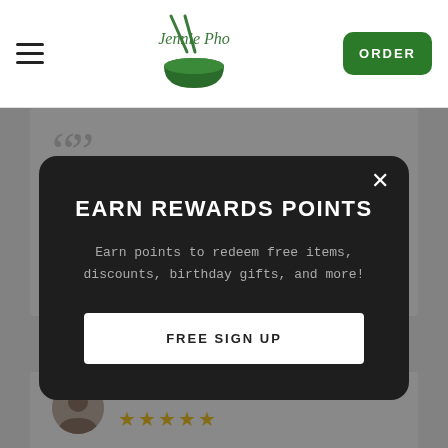Jennie Pho — ORDER
If you love pho, then Jennie's Pho has the best in Colorado. There has never been a case where the broth tasted different
EARN REWARDS POINTS
Earn points to redeem free items, discounts, birthday gifts, and more!
FREE SIGN UP
Chantel F. ★★★★★